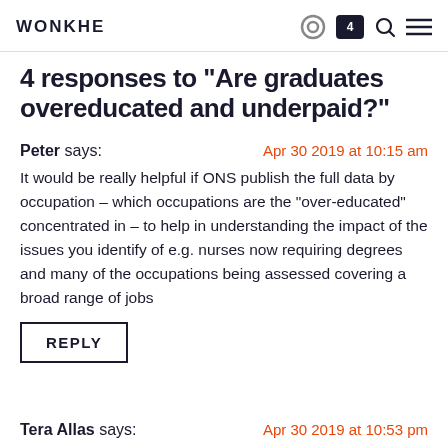WONKHE
4 responses to “Are graduates overeducated and underpaid?”
Peter says:   Apr 30 2019 at 10:15 am
It would be really helpful if ONS publish the full data by occupation – which occupations are the “over-educated” concentrated in – to help in understanding the impact of the issues you identify of e.g. nurses now requiring degrees and many of the occupations being assessed covering a broad range of jobs
REPLY
Tera Allas says:   Apr 30 2019 at 10:53 pm
Great article. I wish more prospective students, and